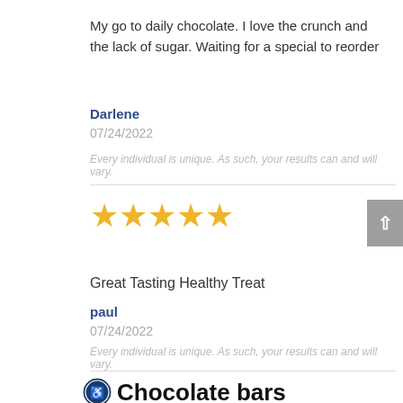My go to daily chocolate. I love the crunch and the lack of sugar. Waiting for a special to reorder
Darlene
07/24/2022
Every individual is unique. As such, your results can and will vary.
[Figure (other): 5 gold stars rating]
Great Tasting Healthy Treat
paul
07/24/2022
Every individual is unique. As such, your results can and will vary.
Chocolate bars